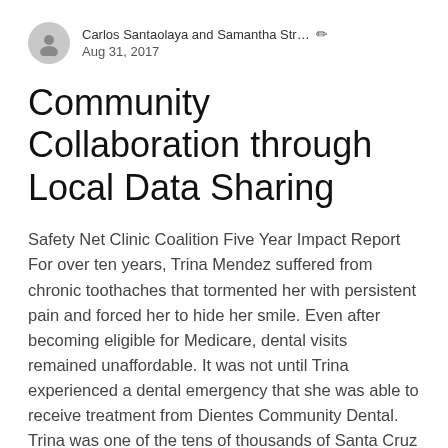Carlos Santaolaya and Samantha Str… ✏ Aug 31, 2017
Community Collaboration through Local Data Sharing
Safety Net Clinic Coalition Five Year Impact Report For over ten years, Trina Mendez suffered from chronic toothaches that tormented her with persistent pain and forced her to hide her smile. Even after becoming eligible for Medicare, dental visits remained unaffordable. It was not until Trina experienced a dental emergency that she was able to receive treatment from Dientes Community Dental. Trina was one of the tens of thousands of Santa Cruz County residents who benefited